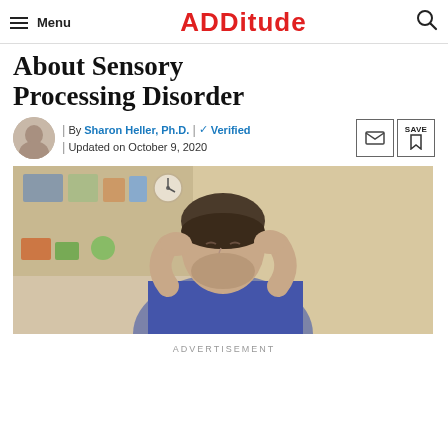ADDitude
About Sensory Processing Disorder
By Sharon Heller, Ph.D. | ✓ Verified | Updated on October 9, 2020
[Figure (photo): Man holding his head in his hands, appearing stressed or overwhelmed, with bookshelves in the background]
ADVERTISEMENT